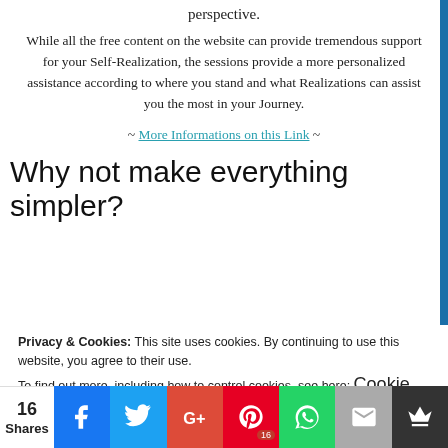perspective.
While all the free content on the website can provide tremendous support for your Self-Realization, the sessions provide a more personalized assistance according to where you stand and what Realizations can assist you the most in your Journey.
~ More Informations on this Link ~
Why not make everything simpler?
Privacy & Cookies: This site uses cookies. By continuing to use this website, you agree to their use. To find out more, including how to control cookies, see here: Cookie Policy
16 Shares [Facebook] [Twitter] [Google+] [Pinterest 16] [WhatsApp] [Email] [Other]